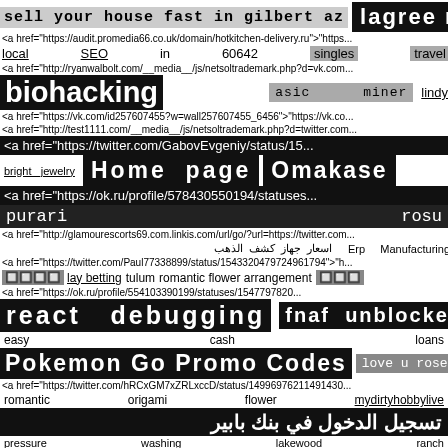sell your house fast in gilbert az   lagree near me
<a href="https://audit.promedia66.co.uk/domain/hotkitchen-delivery.ru">"https...
local   SEO   in   60642   singles   travel
<a href="http://ryanwalbolt.com/__media__/js/netsoltrademark.php?d=vk.com...
biohacking   asic   miner   lindy
<a href="https://vk.com/id257607455?w=wall257607455_6456">"https://vk.co...
<a href="http://test1111.com/__media__/js/netsoltrademark.php?d=twitter.com...
<a href="https://twitter.com/GabovEvgeniy/status/15...
bright jewelry   Home page   Omakase
<a href="https://ok.ru/profile/578430550194/statuses...
purari   rosu
<a href="http://glamourescorts69.com.linkis.com/url/go/?url=https://twitter.com...
اسعار جهاز كشف الذهب   Erp Manufacturing
<a href="https://twitter.com/Paul77338899/status/1543320479724961794">"h...
🔲🔲🔲🔲   lay betting   tulum   romantic flower arrangement   🔲🔲🔲
<a href="https://ok.ru/profile/554103390199/statuses/1547797820...
react   debugging   fnaf   unblocked
easy   cash   loans
Pokemon Go Promo Codes   love u rose
<a href="https://twitter.com/hRCxGM7xZRLxccD/status/14996976211491430...
romantic   origami   flower   mydirtyhobbylive
تسجيل الدخول في بنك بابير
pressure   washing   lakewood   ranch
<a href="https://twitter.com/Karen43854115/status/149960757...